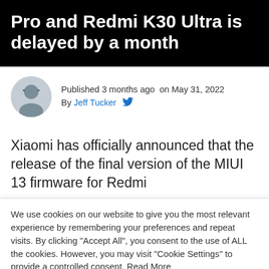Pro and Redmi K30 Ultra is delayed by a month
Published 3 months ago on May 31, 2022
By Jeff Tucker
Xiaomi has officially announced that the release of the final version of the MIUI 13 firmware for Redmi
We use cookies on our website to give you the most relevant experience by remembering your preferences and repeat visits. By clicking "Accept All", you consent to the use of ALL the cookies. However, you may visit "Cookie Settings" to provide a controlled consent. Read More